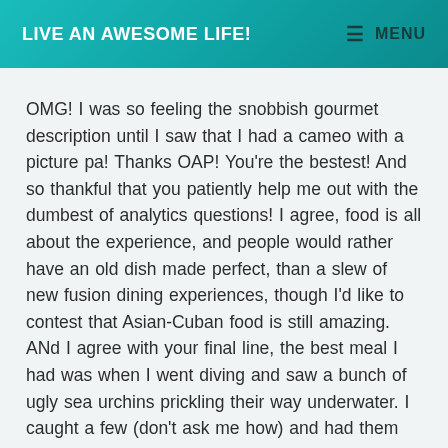LIVE AN AWESOME LIFE! MENU
OMG! I was so feeling the snobbish gourmet description until I saw that I had a cameo with a picture pa! Thanks OAP! You're the bestest! And so thankful that you patiently help me out with the dumbest of analytics questions! I agree, food is all about the experience, and people would rather have an old dish made perfect, than a slew of new fusion dining experiences, though I'd like to contest that Asian-Cuban food is still amazing.
ANd I agree with your final line, the best meal I had was when I went diving and saw a bunch of ugly sea urchins prickling their way underwater. I caught a few (don't ask me how) and had them